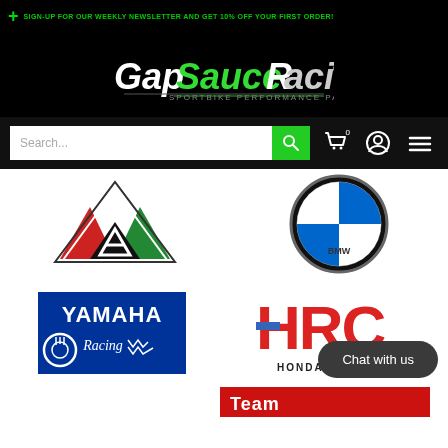+ SIGN-UP FOR OUR WEEKLY NEWSLETTER AND GET 10% OFF YOUR FIRST ORDER!
[Figure (logo): GapSauceRacing.com - Sportbike Performance Parts logo in white and green on black background]
[Figure (screenshot): Search bar with green search icon, cart icon, account icon, and hamburger menu on dark background]
[Figure (logo): Aprilia logo - red, black and green triangular design with stylized A]
[Figure (logo): BMW Motorrad roundel logo in blue and white]
[Figure (logo): Yamaha Racing logo - blue rectangle with white YAMAHA text and cursive Racing text with lightning bolts]
[Figure (logo): HRC Honda Racing logo in red, blue and white]
Chat with us
[Figure (logo): Partially visible Team logo at bottom of page]